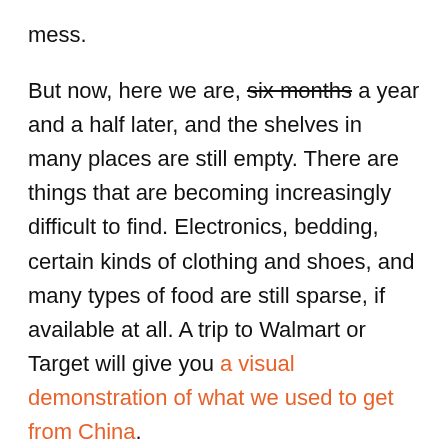mess.
But now, here we are, six months a year and a half later, and the shelves in many places are still empty. There are things that are becoming increasingly difficult to find. Electronics, bedding, certain kinds of clothing and shoes, and many types of food are still sparse, if available at all. A trip to Walmart or Target will give you a visual demonstration of what we used to get from China.
Some folks are beginning to become worried that this is permanent. And they just might be right. But here's another perspective to consider for the bare